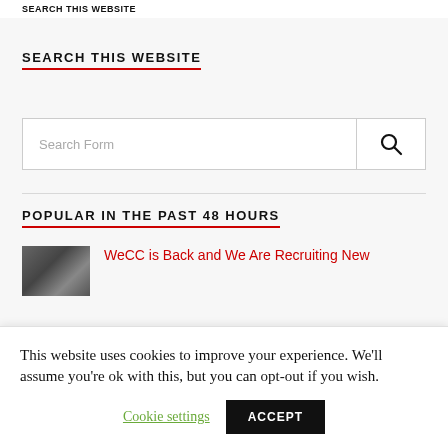SEARCH THIS WEBSITE
SEARCH THIS WEBSITE
[Figure (other): Search form input box with search icon button]
POPULAR IN THE PAST 48 HOURS
[Figure (photo): Thumbnail photo for article]
WeCC is Back and We Are Recruiting New
This website uses cookies to improve your experience. We'll assume you're ok with this, but you can opt-out if you wish.
Cookie settings   ACCEPT